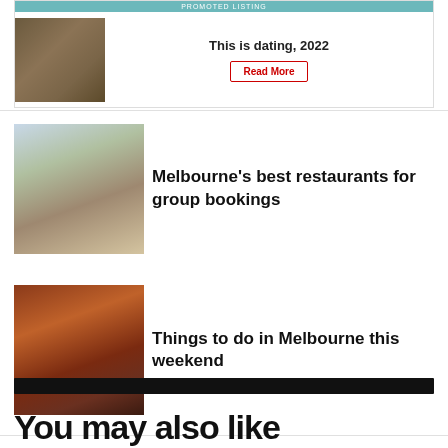[Figure (other): Promoted listing ad banner with couple photo, text 'This is dating, 2022' and a red-bordered 'Read More' button]
[Figure (photo): Interior of an elegant restaurant with dining tables and chairs]
Melbourne's best restaurants for group bookings
[Figure (photo): Performers in colorful costumes on a stage or art production]
Things to do in Melbourne this weekend
You may also like